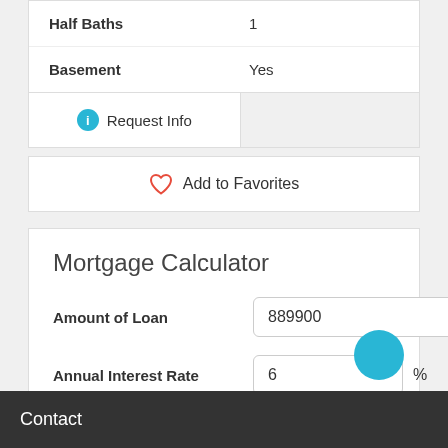| Half Baths | 1 |
| Basement | Yes |
Request Info
Add to Favorites
Mortgage Calculator
Amount of Loan: 889900
Annual Interest Rate: 6 %
Contact